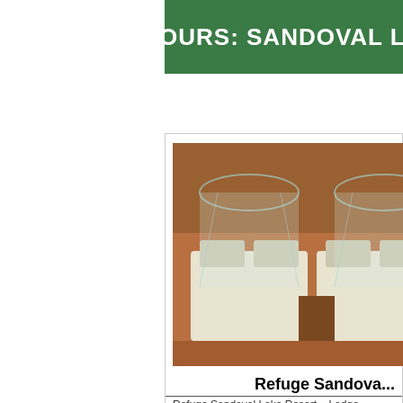TOURS: SANDOVAL LA...
[Figure (photo): Hotel room with beds covered by mosquito nets, warm reddish-brown interior]
Refuge Sandova...
Refuge Sandoval Lake Resort – Lodge Refuge Sand...
Read Tours Tambopata
[Figure (photo): Bird with spread wings landing on water, sandy riverbank background]
Sandoval Lak...
SANDOVAL LAKE FULL DAY Sandoval Lake Full D... found [...]